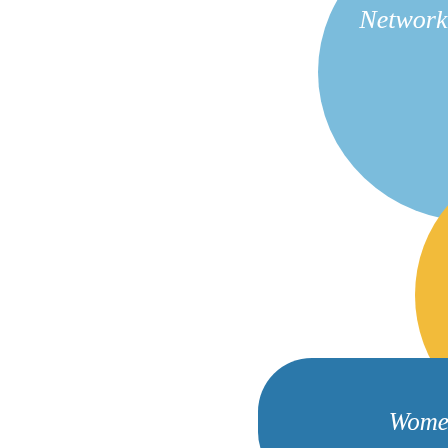[Figure (infographic): Three shapes arranged vertically: a light blue circle at top with 'Networking' text, a gold/yellow oval in the middle with 'NJ-LAC' text, and a dark blue rounded rectangle at the bottom with 'Women's Leadership' text.]